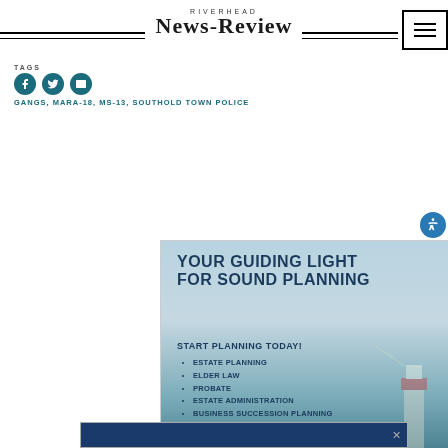RIVERHEAD NEWS-REVIEW
TAGS
GANGS, MARA-18, MS-13, SOUTHOLD TOWN POLICE
[Figure (infographic): Advertisement for Sheryll Law PC: 'YOUR GUIDING LIGHT FOR SOUND PLANNING' with lighthouse background image. Lists: Estate Planning, Elder Law, Probate, Estate Administration, Business Succession Planning. Tagline: Start Planning Today! Logo: SL Sheryll Law PC, Proudly Serving the North & South Forks.]
[Figure (infographic): Partial bottom advertisement strip in dark navy blue.]